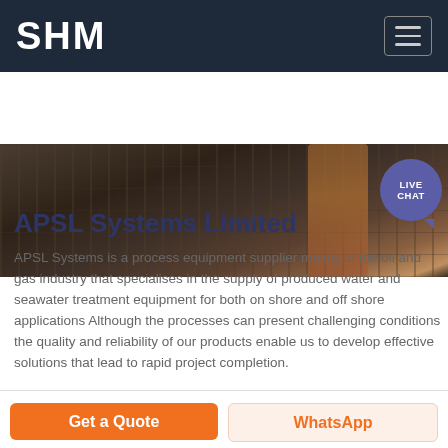SHM
[Figure (photo): Industrial process equipment photo showing machinery with copper tubing, bolts, and wiring panels]
APSL Systems Limited
APSL Systems is a process equipment supplier mainly to the oil and gas industry that specialises in the supply of produced water and seawater treatment equipment for both on shore and off shore applications Although the processes can present challenging conditions the quality and reliability of our products enable us to develop effective solutions that lead to rapid project completion.
Get a Quote
WhatsApp